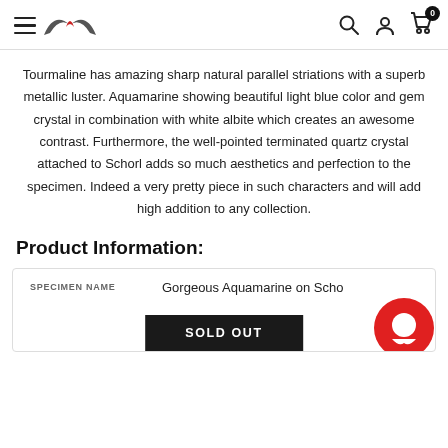Navigation header with menu, logo, search, account, and cart icons
Tourmaline has amazing sharp natural parallel striations with a superb metallic luster. Aquamarine showing beautiful light blue color and gem crystal in combination with white albite which creates an awesome contrast. Furthermore, the well-pointed terminated quartz crystal attached to Schorl adds so much aesthetics and perfection to the specimen. Indeed a very pretty piece in such characters and will add high addition to any collection.
Product Information:
| SPECIMEN NAME |  |
| --- | --- |
| SPECIMEN NAME | Gorgeous Aquamarine on Scho… |